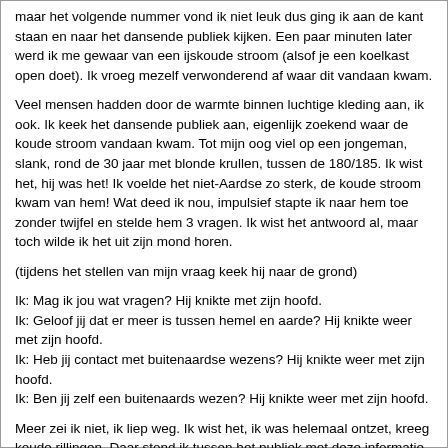maar het volgende nummer vond ik niet leuk dus ging ik aan de kant staan en naar het dansende publiek kijken. Een paar minuten later werd ik me gewaar van een ijskoude stroom (alsof je een koelkast open doet). Ik vroeg mezelf verwonderend af waar dit vandaan kwam.
Veel mensen hadden door de warmte binnen luchtige kleding aan, ik ook. Ik keek het dansende publiek aan, eigenlijk zoekend waar de koude stroom vandaan kwam. Tot mijn oog viel op een jongeman, slank, rond de 30 jaar met blonde krullen, tussen de 180/185. Ik wist het, hij was het! Ik voelde het niet-Aardse zo sterk, de koude stroom kwam van hem! Wat deed ik nou, impulsief stapte ik naar hem toe zonder twijfel en stelde hem 3 vragen. Ik wist het antwoord al, maar toch wilde ik het uit zijn mond horen.
(tijdens het stellen van mijn vraag keek hij naar de grond)
Ik: Mag ik jou wat vragen? Hij knikte met zijn hoofd.
Ik: Geloof jij dat er meer is tussen hemel en aarde? Hij knikte weer met zijn hoofd.
Ik: Heb jij contact met buitenaardse wezens? Hij knikte weer met zijn hoofd.
Ik: Ben jij zelf een buitenaards wezen? Hij knikte weer met zijn hoofd.
Meer zei ik niet, ik liep weg. Ik wist het, ik was helemaal ontzet, kreeg koude rillingen. Daar stond ik tussen het publiek met deze informatie. Ik wist niet wat ik moest doen. Weg gaan of blijven? Ik stond daar niet ver van de garderobe, met mijn rug naar de dansvloer, na te denken wat ik zou doen. Toen voelde ik weer die koude energie. Hij liep me voorbij, terwijl hij zich half omdraaide en mij aan keek. Ik zag duidelijk zijn grote matte witte ogen met een zwarte streep erin. Hij zei het